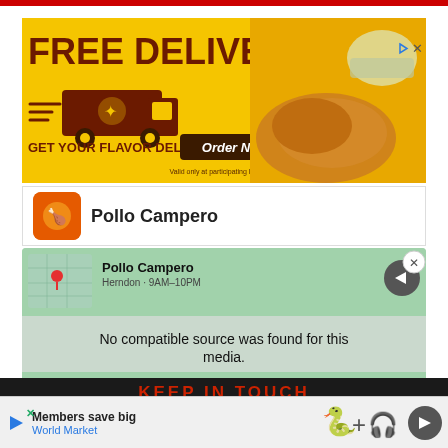[Figure (screenshot): Red top navigation bar of a website]
[Figure (screenshot): Pollo Campero free delivery advertisement banner on yellow background with delivery truck and fried chicken, with Order Now button]
[Figure (screenshot): Pollo Campero app listing card with logo]
[Figure (screenshot): Overlay popup showing Pollo Campero location map with 'No compatible source was found for this media.' message and ezoic branding]
[Figure (screenshot): Green book cover background with text 'KEEP IN TOUCH' black bar and bottom ad strip for World Market with icons]